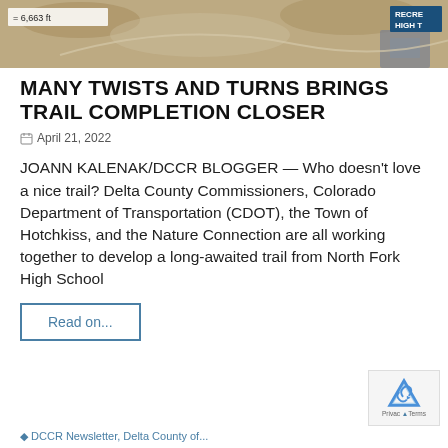[Figure (screenshot): Aerial/satellite map image showing terrain, with distance label '= 6,663 ft' in top-left and 'RECRE HIGH T' badge in top-right corner]
MANY TWISTS AND TURNS BRINGS TRAIL COMPLETION CLOSER
April 21, 2022
JOANN KALENAK/DCCR BLOGGER — Who doesn't love a nice trail? Delta County Commissioners, Colorado Department of Transportation (CDOT), the Town of Hotchkiss, and the Nature Connection are all working together to develop a long-awaited trail from North Fork High School
Read on...
DCCR Newsletter, Delta County of...